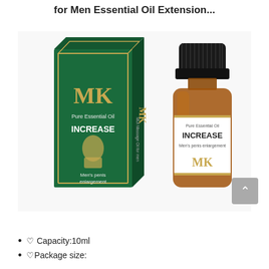for Men Essential Oil Extension...
[Figure (photo): Product photo showing MK Pure Essential Oil INCREASE box (green with gold lettering, Men's penis enlargement) next to a small amber glass bottle with white label reading MK Pure Essential Oil INCREASE Men's penis enlargement]
♡ Capacity:10ml
♡Package size: